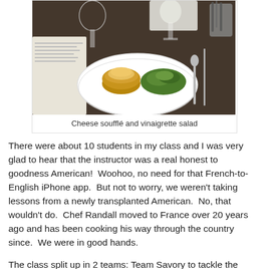[Figure (photo): A white plate with a yellow ramekin containing a cheese soufflé and a green vinaigrette salad on the side, set on a dark table with glasses, cutlery, and papers nearby.]
Cheese soufflé and vinaigrette salad
There were about 10 students in my class and I was very glad to hear that the instructor was a real honest to goodness American!  Woohoo, no need for that French-to-English iPhone app.  But not to worry, we weren't taking lessons from a newly transplanted American.  No, that wouldn't do.  Chef Randall moved to France over 20 years ago and has been cooking his way through the country since.  We were in good hands.
The class split up in 2 teams: Team Savory to tackle the cheese soufflé and Team Sweet to tackle the